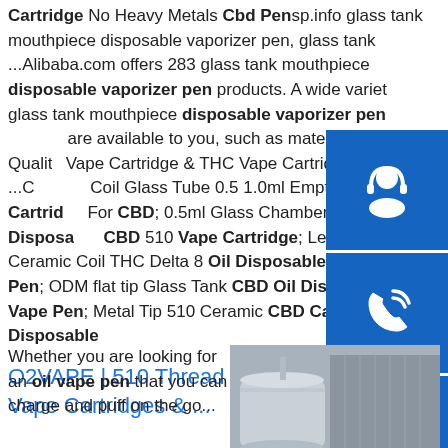Cartridge No Heavy Metals Cbd Pensp.info glass tank mouthpiece disposable vaporizer pen, glass tank ...Alibaba.com offers 283 glass tank mouthpiece disposable vaporizer pen products. A wide variety of glass tank mouthpiece disposable vaporizer pen are available to you, such as material.sp.info Quality Vape Cartridge & THC Vape Cartridges factory ...Ceramic Coil Glass Tube 0.5 1.0ml Empty 510 Vape Cartridge For CBD; 0.5ml Glass Chamber 280mAh Disposable CBD 510 Vape Cartridge; Leakproof Ceramic Coil THC Delta 8 Oil Disposable Vaporizer Pen; ODM flat tip Glass Tank CBD Oil Disposable Vape Pen; Metal Tip 510 Ceramic CBD Cartridge Disposable
[Figure (infographic): Three blue sidebar buttons: headset/support icon, phone/call icon, Skype icon]
O2VAPE | 510 Thread Battery, Vape Pens, Vape Cartridges & ...
Whether you are looking for an oil vape pen that you can charge and puff on the go...
[Figure (photo): Industrial tank structure, grey building in background]